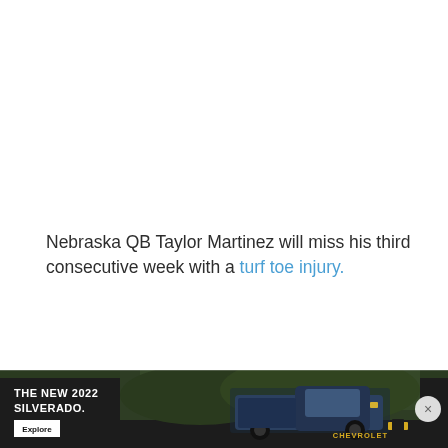Nebraska QB Taylor Martinez will miss his third consecutive week with a turf toe injury.
Adrian Peterson stepped away from the Minnesota Vikings for a "tragic incident."
Will Josh Freeman become the man for Minnesota?
[Figure (infographic): Chevrolet advertisement banner for The New 2022 Silverado with an Explore button, a truck image, and Chevrolet logo with close button]